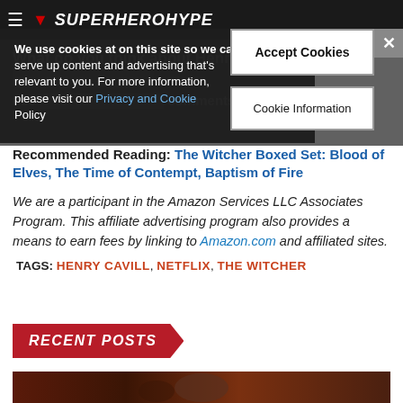SuperHeroHype
We use cookies at on this site so we can serve up content and advertising that's relevant to you. For more information, please visit our Privacy and Cookie Policy
Accept Cookies
Cookie Information
What do you think about Henry Cavill's... comments section below.
Recommended Reading: The Witcher Boxed Set: Blood of Elves, The Time of Contempt, Baptism of Fire
We are a participant in the Amazon Services LLC Associates Program. This affiliate advertising program also provides a means to earn fees by linking to Amazon.com and affiliated sites.
TAGS: HENRY CAVILL, NETFLIX, THE WITCHER
RECENT POSTS
[Figure (photo): Dark cinematic photo of a person holding a weapon, reddish/orange atmospheric lighting]